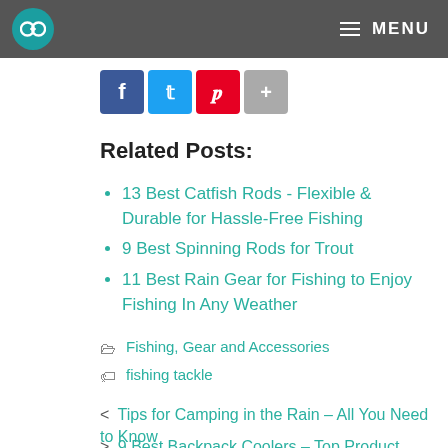MENU
[Figure (other): Social share icons: Facebook, Twitter, Pinterest, Share]
Related Posts:
13 Best Catfish Rods - Flexible & Durable for Hassle-Free Fishing
9 Best Spinning Rods for Trout
11 Best Rain Gear for Fishing to Enjoy Fishing In Any Weather
Fishing, Gear and Accessories
fishing tackle
< Tips for Camping in the Rain – All You Need to Know
> 9 Best Backpack Coolers - Top Product